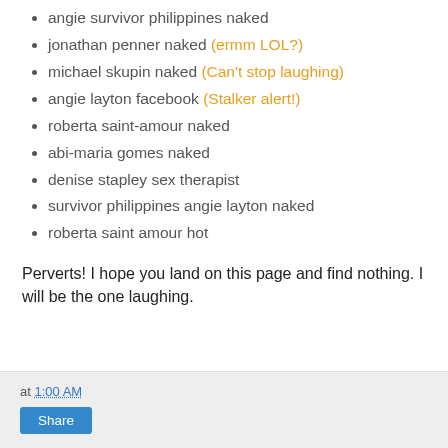angie survivor philippines naked
jonathan penner naked (ermm LOL?)
michael skupin naked (Can't stop laughing)
angie layton facebook (Stalker alert!)
roberta saint-amour naked
abi-maria gomes naked
denise stapley sex therapist
survivor philippines angie layton naked
roberta saint amour hot
Perverts! I hope you land on this page and find nothing. I will be the one laughing.
at 1:00 AM  Share